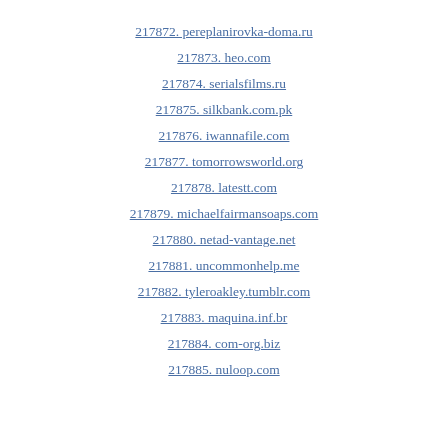217872. pereplanirovka-doma.ru
217873. heo.com
217874. serialsfilms.ru
217875. silkbank.com.pk
217876. iwannafile.com
217877. tomorrowsworld.org
217878. latestt.com
217879. michaelfairmansoaps.com
217880. netad-vantage.net
217881. uncommonhelp.me
217882. tyleroakley.tumblr.com
217883. maquina.inf.br
217884. com-org.biz
217885. nuloop.com